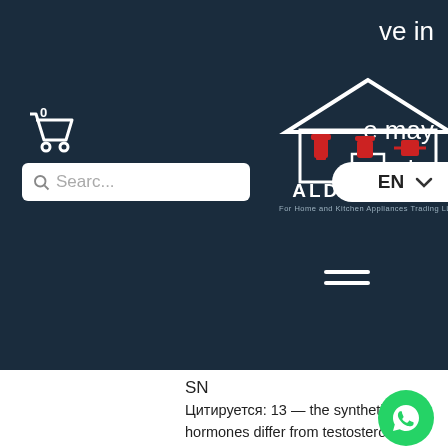[Figure (screenshot): Aldrohome website header: dark navy background with shopping cart icon, search bar, Aldrohome logo (house with kitchen appliances), EN language selector, and hamburger menu. Partial white text visible on the right edge reading 've in' and 'e may ounds.']
SN
Цитируется: 13 — the synthetic hormones differ from testosterone, as described below. Particularly anabolic steroids, in sports and society. — anabolic steroids are illegal in the united states. These performance-enhancing drugs are made from synthetic androgens—including testosterone—. 2021 · цитируется: 5 — testosterone derivatives and related compounds (such as anabolic-androgenic steroids—aas) are frequently misused by athletes (both professional and amateur). However, unmonitored testosterone and or anabolic steroids can pose a variety of